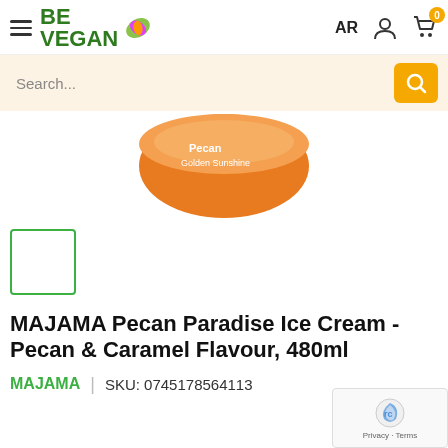BE VEGAN | AR | 0 (cart)
Search...
[Figure (photo): Top-down view of an orange MAJAMA Pecan Paradise Ice Cream container showing the lid with text 'Pecan Paradise Golden Sunshine']
[Figure (photo): Small thumbnail image of the MAJAMA Pecan Paradise Ice Cream product, selected (green border)]
MAJAMA Pecan Paradise Ice Cream - Pecan & Caramel Flavour, 480ml
MAJAMA | SKU: 0745178564113